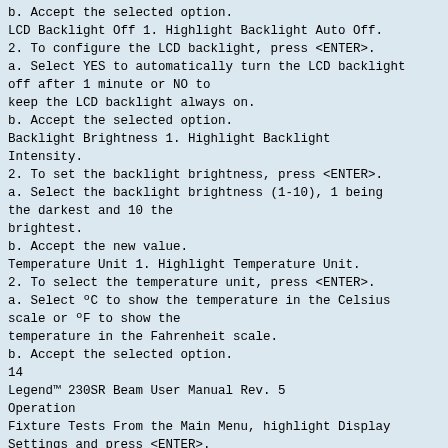b. Accept the selected option.
LCD Backlight Off 1. Highlight Backlight Auto Off.
2. To configure the LCD backlight, press <ENTER>.
a. Select YES to automatically turn the LCD backlight off after 1 minute or NO to
keep the LCD backlight always on.
b. Accept the selected option.
Backlight Brightness 1. Highlight Backlight Intensity.
2. To set the backlight brightness, press <ENTER>.
a. Select the backlight brightness (1-10), 1 being the darkest and 10 the
brightest.
b. Accept the new value.
Temperature Unit 1. Highlight Temperature Unit.
2. To select the temperature unit, press <ENTER>.
a. Select ºC to show the temperature in the Celsius scale or ºF to show the
temperature in the Fahrenheit scale.
b. Accept the selected option.
14
Legend™ 230SR Beam User Manual Rev. 5
Operation
Fixture Tests From the Main Menu, highlight Display Settings and press <ENTER>.
Automatic Fixture Test 1. Highlight Auto Test.
2. To start the built-in test sequence, press <ENTER>.
The automatic fixture test will end after 1 full cycle. You can stop the test by
pressing <MENU>.
Manual Fixture Test 1. Highlight Manual Test and press <ENTER>.